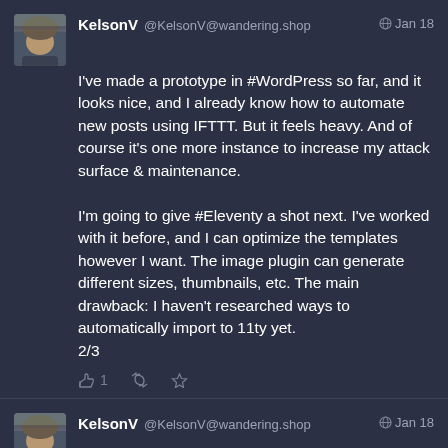KelsonV @KelsonV@wandering.shop Jan 18
I've made a prototype in #WordPress so far, and it looks nice, and I already know how to automate new posts using IFTTT. But it feels heavy. And of course it's one more instance to increase my attack surface & maintenance.

I'm going to give #Eleventy a shot next. I've worked with it before, and I can optimize the templates however I want. The image plugin can generate different sizes, thumbnails, etc. The main drawback: I haven't researched ways to automatically import to 11ty yet.
2/3
KelsonV @KelsonV@wandering.shop Jan 18
Long-term I'd like to add #POSSE (selectively) to make it easier to cross-post. I had a set of 3 photos yesterday that I wanted to post to Flickr